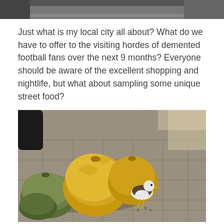[Figure (photo): Partial top image, appears to be top edge of a street/outdoor photo, dark tones]
Just what is my local city all about? What do we have to offer to the visiting hordes of demented football fans over the next 9 months? Everyone should be aware of the excellent shopping and nightlife, but what about sampling some unique street food?
[Figure (photo): A seagull standing on a paved sidewalk next to several golden/green garbage bags piled up on the street]